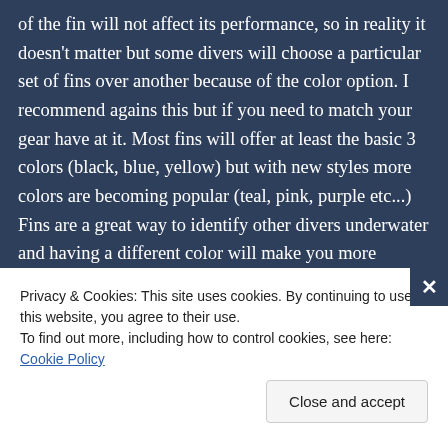of the fin will not affect its performance, so in reality it doesn't matter but some divers will choose a particular set of fins over another because of the color option. I recommend agains this but if you need to match your gear have at it. Most fins will offer at least the basic 3 colors (black, blue, yellow) but with new styles more colors are becoming popular (teal, pink, purple etc...) Fins are a great way to identify other divers underwater and having a different color will make you more recognizable. Some more tech oriented fins will often only be offered in one color usually black, but many divers will write their names on them to make them identifiable.
Privacy & Cookies: This site uses cookies. By continuing to use this website, you agree to their use.
To find out more, including how to control cookies, see here: Cookie Policy